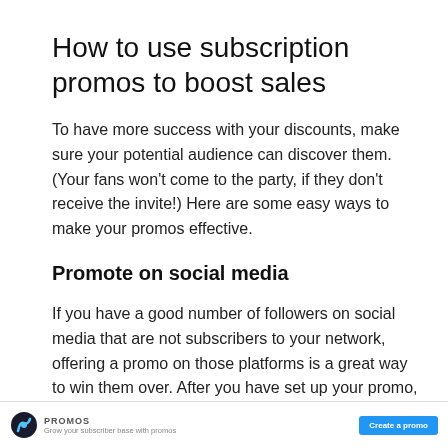How to use subscription promos to boost sales
To have more success with your discounts, make sure your potential audience can discover them. (Your fans won't come to the party, if they don't receive the invite!) Here are some easy ways to make your promos effective.
Promote on social media
If you have a good number of followers on social media that are not subscribers to your network, offering a promo on those platforms is a great way to win them over. After you have set up your promo, you can copy the URL link and paste it into posts on Facebook, Twitter, Instagram, and more.
PROMOS